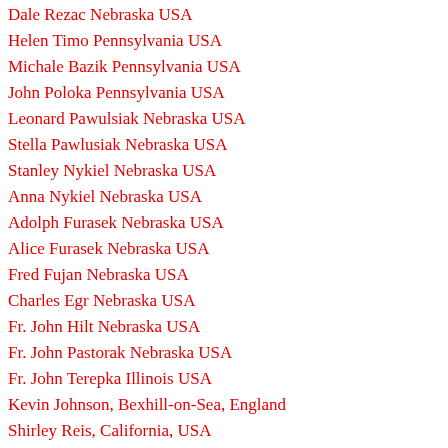Dale Rezac Nebraska USA
Helen Timo Pennsylvania USA
Michale Bazik Pennsylvania USA
John Poloka Pennsylvania USA
Leonard Pawulsiak Nebraska USA
Stella Pawlusiak Nebraska USA
Stanley Nykiel Nebraska USA
Anna Nykiel Nebraska USA
Adolph Furasek Nebraska USA
Alice Furasek Nebraska USA
Fred Fujan Nebraska USA
Charles Egr Nebraska USA
Fr. John Hilt Nebraska USA
Fr. John Pastorak Nebraska USA
Fr. John Terepka Illinois USA
Kevin Johnson, Bexhill-on-Sea, England
Shirley Reis, California, USA
Hildegard Krause Illinois USA